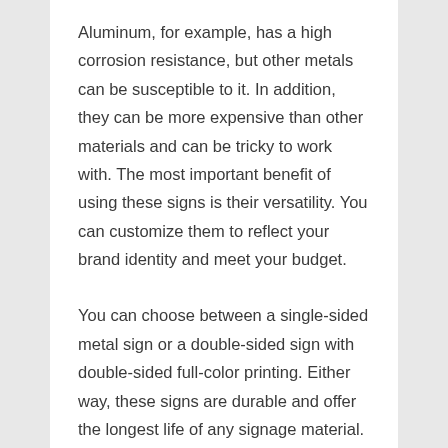Aluminum, for example, has a high corrosion resistance, but other metals can be susceptible to it. In addition, they can be more expensive than other materials and can be tricky to work with. The most important benefit of using these signs is their versatility. You can customize them to reflect your brand identity and meet your budget.
You can choose between a single-sided metal sign or a double-sided sign with double-sided full-color printing. Either way, these signs are durable and offer the longest life of any signage material. If you live in a large city, metal signs are the perfect solution. You can pick up your